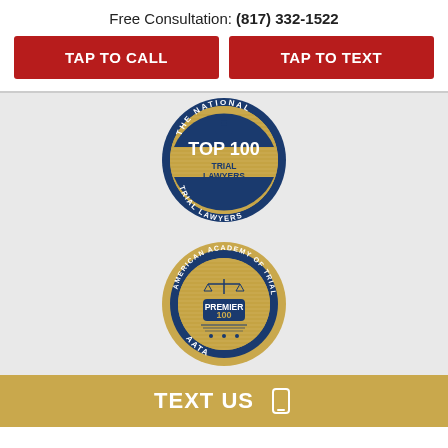Free Consultation: (817) 332-1522
TAP TO CALL
TAP TO TEXT
[Figure (logo): The National Trial Lawyers Top 100 Trial Lawyers seal badge — circular blue and gold seal with Lady Justice figure in center]
[Figure (logo): American Academy of Trial Attorneys Premier 100 AATA badge — circular navy and gold seal with scales of justice]
TEXT US